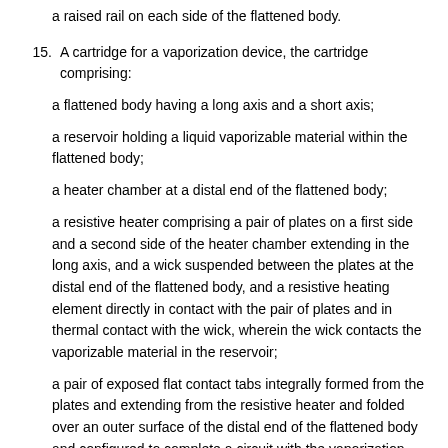a raised rail on each side of the flattened body.
15. A cartridge for a vaporization device, the cartridge comprising:
a flattened body having a long axis and a short axis;
a reservoir holding a liquid vaporizable material within the flattened body;
a heater chamber at a distal end of the flattened body;
a resistive heater comprising a pair of plates on a first side and a second side of the heater chamber extending in the long axis, and a wick suspended between the plates at the distal end of the flattened body, and a resistive heating element directly in contact with the pair of plates and in thermal contact with the wick, wherein the wick contacts the vaporizable material in the reservoir;
a pair of exposed flat contact tabs integrally formed from the plates and extending from the resistive heater and folded over an outer surface of the distal end of the flattened body and configured to complete a circuit with the vaporization device when the cartridge is inserted into the vaporization device; and